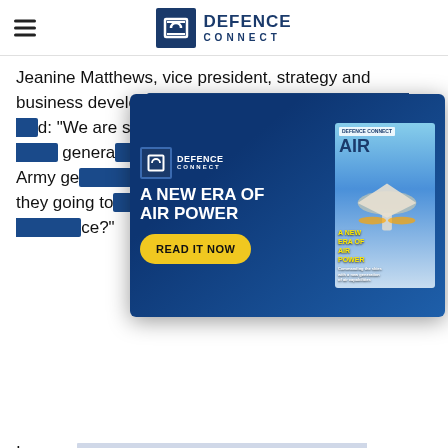DEFENCE CONNECT
Jeanine Matthews, vice president, strategy and business development [...]d: "We are see[...] genera[...] it is Army ge[...] hey going to [...] e?"
[Figure (advertisement): Defence Connect advertisement overlay with text 'A NEW ERA OF AIR POWER' and 'READ IT NOW' button, showing magazine cover]
In respo[...] ns to help the [...] of today and into the future to be part of the integrated force, focused on ensuring that Army can develop the capabilities of today, while also focusing on tackling the future challenges it may face.
[Figure (advertisement): ECA Group advertisement banner with logo and image of underwater drone]
Lockhe[...] des a virtually w[...] ons on the range from multiple viewpoints, targetry status, weapons